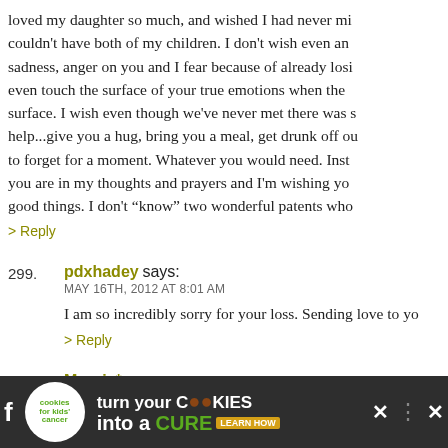loved my daughter so much, and wished I had never mi... couldn't have both of my children. I don't wish even an... sadness, anger on you and I fear because of already losi... even touch the surface of your true emotions when the... surface. I wish even though we've never met there was s... help...give you a hug, bring you a meal, get drunk off ou... to forget for a moment. Whatever you would need. Inst... you are in my thoughts and prayers and I'm wishing yo... good things. I don't “know” two wonderful patents who...
> Reply
299. pdxhadey says:
MAY 16TH, 2012 AT 8:01 AM
I am so incredibly sorry for your loss. Sending love to yo...
> Reply
300. Marnie* says:
MAY 16TH, 2012 AT 8:01 AM
[Figure (other): Advertisement banner for Cookies for Kids' Cancer: 'turn your COOKIES into a CURE LEARN HOW' with logo, social media icons, and close button on dark background.]